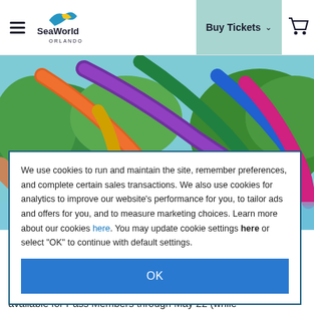SeaWorld Orlando — Buy Tickets navigation bar
[Figure (screenshot): A colorful water park photo showing Aquatica water slides with bright pink, purple, yellow, and blue tubes against a green tropical backdrop. A person's wrist with a bracelet is visible in the foreground left.]
We use cookies to run and maintain the site, remember preferences, and complete certain sales transactions. We also use cookies for analytics to improve our website's performance for you, to tailor ads and offers for you, and to measure marketing choices. Learn more about our cookies here. You may update cookie settings here or select "OK" to continue with default settings.
OK
You ca…ving the AL… And now yo…nir featur…e available for Pass Members through May 22 (while